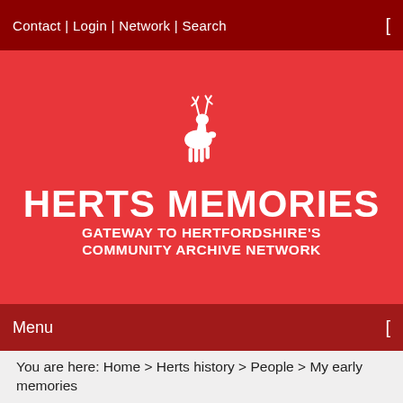Contact | Login | Network | Search
[Figure (logo): White silhouette of a stag (deer with antlers) on red background]
HERTS MEMORIES
GATEWAY TO HERTFORDSHIRE'S COMMUNITY ARCHIVE NETWORK
Menu
You are here: Home > Herts history > People > My early memories